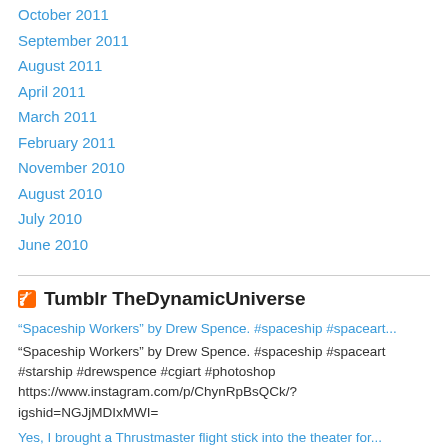October 2011
September 2011
August 2011
April 2011
March 2011
February 2011
November 2010
August 2010
July 2010
June 2010
Tumblr TheDynamicUniverse
“Spaceship Workers” by Drew Spence. #spaceship #spaceart...
“Spaceship Workers” by Drew Spence. #spaceship #spaceart #starship #drewspence #cgiart #photoshop https://www.instagram.com/p/ChynRpBsQCk/?igshid=NGJjMDIxMWI=
Yes, I brought a Thrustmaster flight stick into the theater for...
Yes, I brought a Thrustmaster flight stick into the theater for Top Gun Maverick 4DX. #topgun #topgunmaverick #maverick #thrustmaster